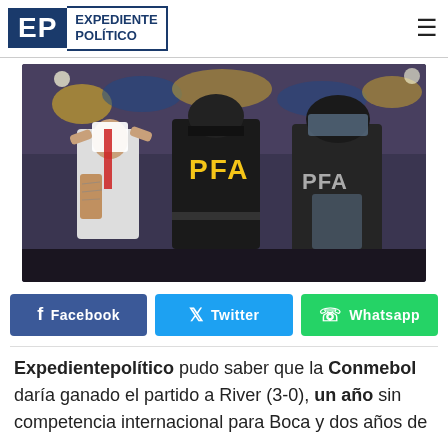EXPEDIENTE POLÍTICO
[Figure (photo): A River Plate player in white jersey covers his face with his shirt while two PFA (Argentine Federal Police) officers in black tactical gear and helmets stand nearby. Stadium crowd visible in background with yellow and blue colors.]
Facebook   Twitter   Whatsapp
Expedientepolítico pudo saber que la Conmebol daría ganado el partido a River (3-0), un año sin competencia internacional para Boca y dos años de